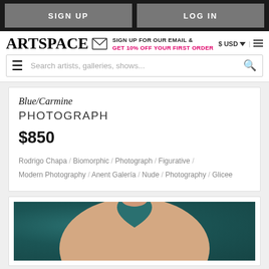SIGN UP | LOG IN
ARTSPACE — SIGN UP FOR OUR EMAIL & GET 10% OFF YOUR FIRST ORDER — $USD — Search artists, galleries, shows...
Blue/Carmine
PHOTOGRAPH
$850
Rodrigo Chapa / Biomorphic / Photograph / Figurative / Modern Photography / Anent Galería / Nude / Photography / Glicee
[Figure (photo): Close-up nude figurative photograph showing back/torso against teal background, artwork titled Blue/Carmine by Rodrigo Chapa]